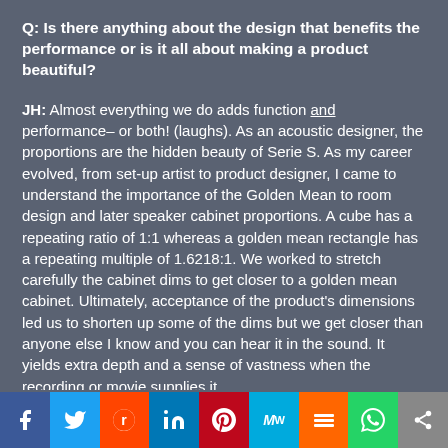Q: Is there anything about the design that benefits the performance or is it all about making a product beautiful?
JH: Almost everything we do adds function and performance– or both! (laughs). As an acoustic designer, the proportions are the hidden beauty of Serie S. As my career evolved, from set-up artist to product designer, I came to understand the importance of the Golden Mean to room design and later speaker cabinet proportions. A cube has a repeating ratio of 1:1 whereas a golden mean rectangle has a repeating multiple of 1.6218:1. We worked to stretch carefully the cabinet dims to get closer to a golden mean cabinet. Ultimately, acceptance of the product's dimensions led us to shorten up some of the dims but we get closer than anyone else I know and you can hear it in the sound. It yields extra depth and a sense of vastness when the recording or movie supplies it.
[Figure (infographic): Social media sharing buttons: Facebook, Twitter, Reddit, LinkedIn, Pinterest, MeWe, Mix, WhatsApp, Share]